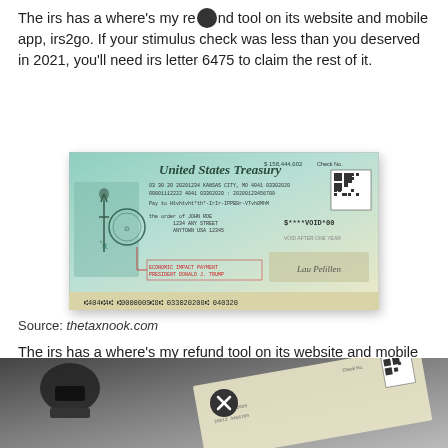The irs has a where's my refund tool on its website and mobile app, irs2go. If your stimulus check was less than you deserved in 2021, you'll need irs letter 6475 to claim the rest of it.
[Figure (photo): Sample United States Treasury stimulus check (Economic Impact Payment) made out to John Doe, 1234 Any Street, Anytown USA 12345, with VOID stamp and 'ECONOMIC IMPACT PAYMENT PRESIDENT DONALD J. TRUMP' notation.]
Source: thetaxnook.com
The irs has a where's my refund tool on its website and mobile app, irs2go. Irs get my tax refund:
[Figure (photo): Photo of a United States Treasury stimulus check being held by a clip/clamp, partially visible with QR code and check numbers visible.]